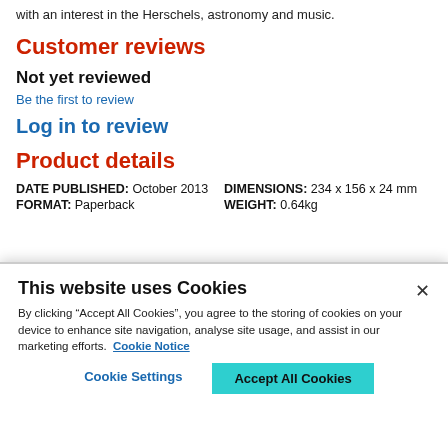with an interest in the Herschels, astronomy and music.
Customer reviews
Not yet reviewed
Be the first to review
Log in to review
Product details
| DATE PUBLISHED: | October 2013 | DIMENSIONS: | 234 x 156 x 24 mm |
| FORMAT: | Paperback | WEIGHT: | 0.64kg |
This website uses Cookies
By clicking “Accept All Cookies”, you agree to the storing of cookies on your device to enhance site navigation, analyse site usage, and assist in our marketing efforts. Cookie Notice
Cookie Settings
Accept All Cookies